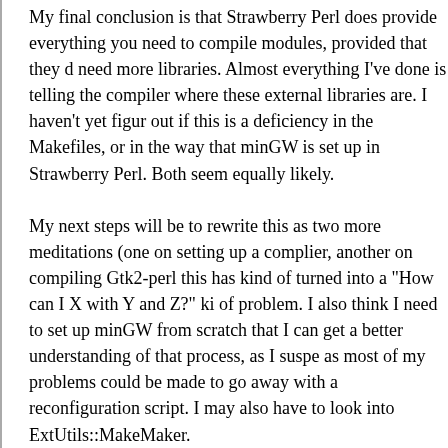My final conclusion is that Strawberry Perl does provide everything you need to compile modules, provided that they don't need more libraries. Almost everything I've done is telling the compiler where these external libraries are. I haven't yet figured out if this is a deficiency in the Makefiles, or in the way that minGW is set up in Strawberry Perl. Both seem equally likely.

My next steps will be to rewrite this as two more meditations (one on setting up a complier, another on compiling Gtk2-perl). this has kind of turned into a "How can I X with Y and Z?" kind of problem. I also think I need to set up minGW from scratch so that I can get a better understanding of that process, as I suspect as most of my problems could be made to go away with a reconfiguration script. I may also have to look into ExtUtils::MakeMaker.
Re^2: RFC: Setting up a minGW compiling envronment for P
by spicyjack on Mar 20, 2008 at 04:07 UTC
Sorry y'all. I've been working on other things for a bit ($work/2, A fence, a LAN party, and a busted Lada Niva, mostly).

Hahaha, Nivas are cool as hell. You ever seen where they took a Niva and totally submerged it, ran it around the bottom of a shallow lake in Russia scaring scuba gear...